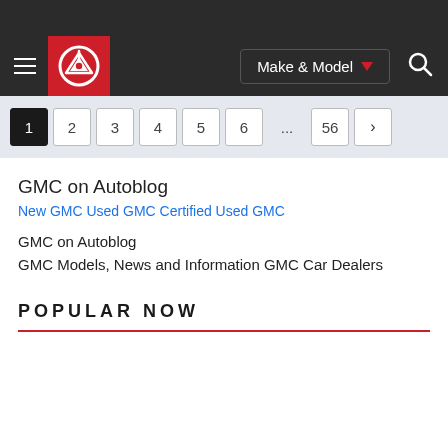Navigation bar with hamburger menu, Autoblog logo, Make & Model dropdown, and search icon
1 2 3 4 5 6 ... 56 >
GMC on Autoblog
New GMC Used GMC Certified Used GMC
GMC on Autoblog
GMC Models, News and Information GMC Car Dealers
POPULAR NOW